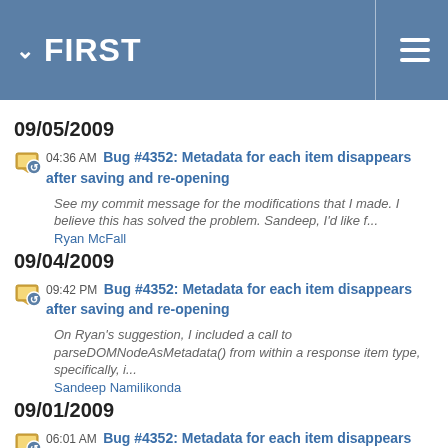FIRST
09/05/2009
04:36 AM Bug #4352: Metadata for each item disappears after saving and re-opening
See my commit message for the modifications that I made. I believe this has solved the problem. Sandeep, I'd like f...
Ryan McFall
09/04/2009
09:42 PM Bug #4352: Metadata for each item disappears after saving and re-opening
On Ryan's suggestion, I included a call to parseDOMNodeAsMetadata() from within a response item type, specifically, i...
Sandeep Namilikonda
09/01/2009
06:01 AM Bug #4352: Metadata for each item disappears after saving and re-opening
Looking at the code for parseDOMNodeAsResponseItem in MultipleChoiceResponseItem, I don't see any code looking for th...
Ryan McFall